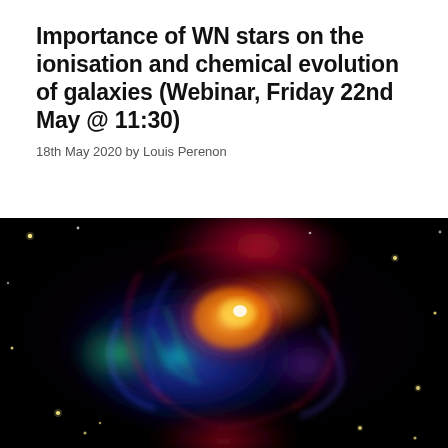Importance of WN stars on the ionisation and chemical evolution of galaxies (Webinar, Friday 22nd May @ 11:30)
18th May 2020 by Louis Perenon
[Figure (photo): Astronomical photograph of a colorful supernova remnant nebula (likely Cassiopeia A) showing intricate filamentary structures in red, blue, green, cyan, and orange/yellow against a black star field with yellow point stars.]